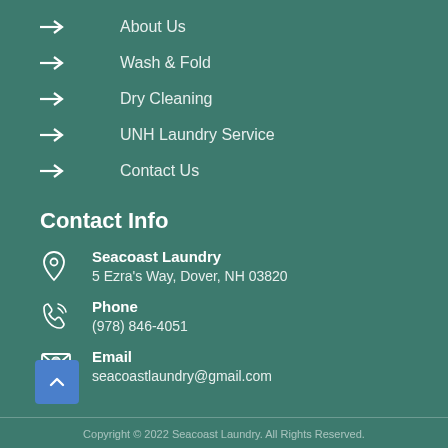→ About Us
→ Wash & Fold
→ Dry Cleaning
→ UNH Laundry Service
→ Contact Us
Contact Info
Seacoast Laundry
5 Ezra's Way, Dover, NH 03820
Phone
(978) 846-4051
Email
seacoastlaundry@gmail.com
Copyright © 2022 Seacoast Laundry. All Rights Reserved.